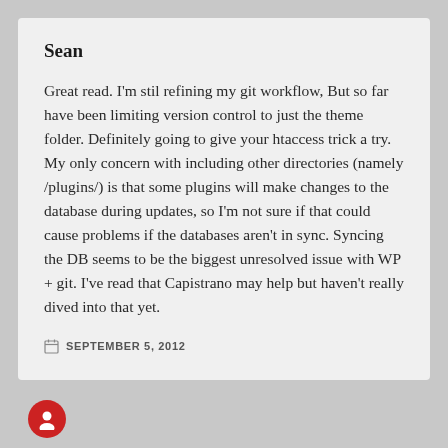Sean
Great read. I'm stil refining my git workflow, But so far have been limiting version control to just the theme folder. Definitely going to give your htaccess trick a try. My only concern with including other directories (namely /plugins/) is that some plugins will make changes to the database during updates, so I'm not sure if that could cause problems if the databases aren't in sync. Syncing the DB seems to be the biggest unresolved issue with WP + git. I've read that Capistrano may help but haven't really dived into that yet.
SEPTEMBER 5, 2012